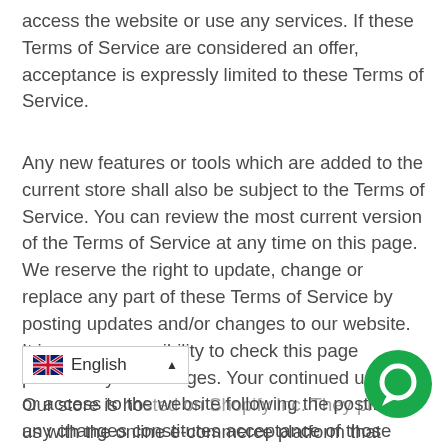access the website or use any services. If these Terms of Service are considered an offer, acceptance is expressly limited to these Terms of Service.
Any new features or tools which are added to the current store shall also be subject to the Terms of Service. You can review the most current version of the Terms of Service at any time on this page. We reserve the right to update, change or replace any part of these Terms of Service by posting updates and/or changes to our website. It is your responsibility to check this page periodically for changes. Your continued use of or access to the website following the posting of any changes constitutes acceptance of those changes.
Our store is hosted on Shopify Inc. They provide us with the online e-commerce platform that allows us to sell our products and services to you.